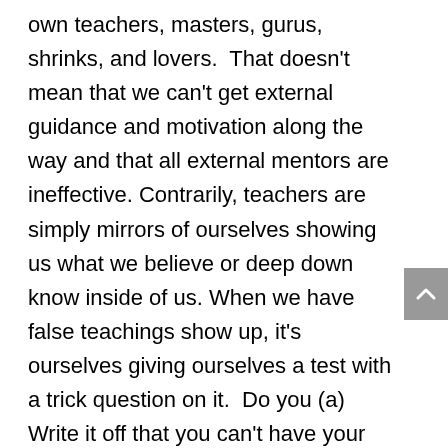own teachers, masters, gurus, shrinks, and lovers. That doesn't mean that we can't get external guidance and motivation along the way and that all external mentors are ineffective. Contrarily, teachers are simply mirrors of ourselves showing us what we believe or deep down know inside of us. When we have false teachings show up, it's ourselves giving ourselves a test with a trick question on it. Do you (a) Write it off that you can't have your Twin Flame because someone told you or it hasn't happened, (b) Believe in Twin Flames but choose that it's not likely for you, (c) Stay openminded and